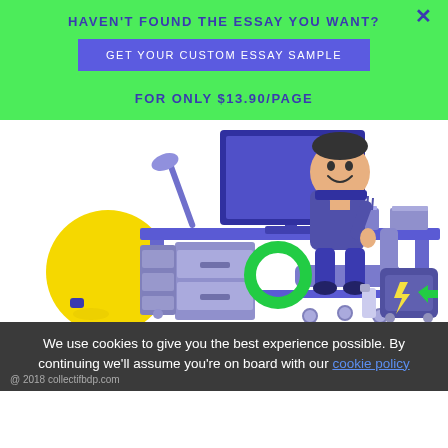HAVEN'T FOUND THE ESSAY YOU WANT?
GET YOUR CUSTOM ESSAY SAMPLE
FOR ONLY $13.90/PAGE
[Figure (illustration): Cartoon illustration of a student sitting at a desk with a computer monitor, smiling, with books, a backpack, a lamp, and a yellow exercise ball on the floor. Purple and light purple color scheme.]
We use cookies to give you the best experience possible. By continuing we'll assume you're on board with our cookie policy
@ 2018 collectifbdp.com